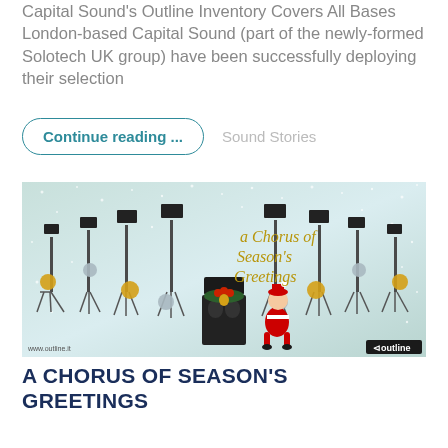Capital Sound's Outline Inventory Covers All Bases London-based Capital Sound (part of the newly-formed Solotech UK group) have been successfully deploying their selection
Continue reading ...
Sound Stories
[Figure (photo): Christmas-themed promotional image for Outline audio equipment showing speaker stands arranged in a semicircle with Christmas ornaments, a decorated subwoofer, and a Santa Claus figure. Text reads 'a Chorus of Season's Greetings'. Website www.outline.it and Outline logo visible.]
A CHORUS OF SEASON'S GREETINGS